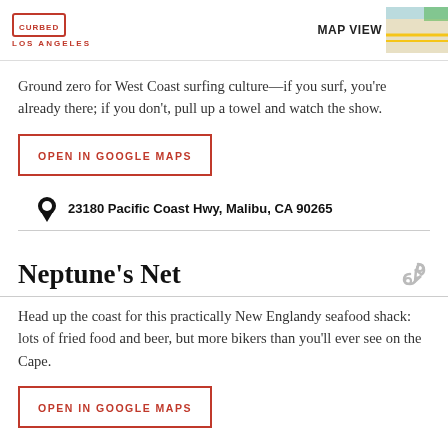CURBED LOS ANGELES | MAP VIEW
Ground zero for West Coast surfing culture—if you surf, you're already there; if you don't, pull up a towel and watch the show.
OPEN IN GOOGLE MAPS
23180 Pacific Coast Hwy, Malibu, CA 90265
Neptune's Net
Head up the coast for this practically New Englandy seafood shack: lots of fried food and beer, but more bikers than you'll ever see on the Cape.
OPEN IN GOOGLE MAPS